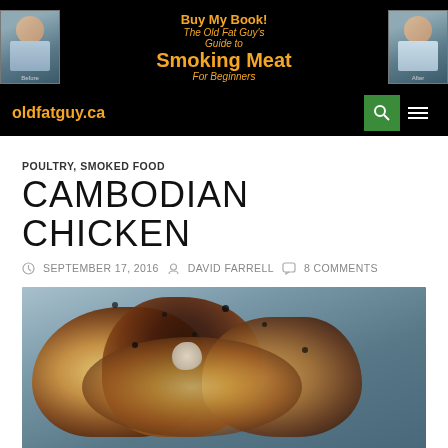[Figure (photo): Website header banner: black background with two photos of a man (before and after), center text 'Buy My Book! The Old Fat Guy's Guide to Smoking Meat For Beginners' in orange/gold text]
oldfatguy.ca
POULTRY, SMOKED FOOD
CAMBODIAN CHICKEN
SEPTEMBER 17, 2016   DAVID FARRELL   8 COMMENTS
[Figure (photo): Close-up photo of smoked/grilled Cambodian chicken pieces on a plate, showing golden-brown crispy skin with dark seasoning]